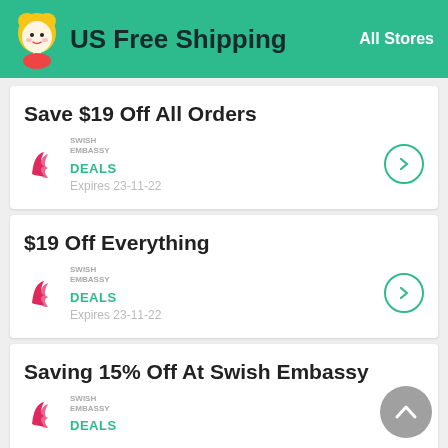US Free Shipping — All Stores
Save $19 Off All Orders
DEALS
Expires 23-11-22
$19 Off Everything
DEALS
Expires 23-11-22
Saving 15% Off At Swish Embassy
DEALS